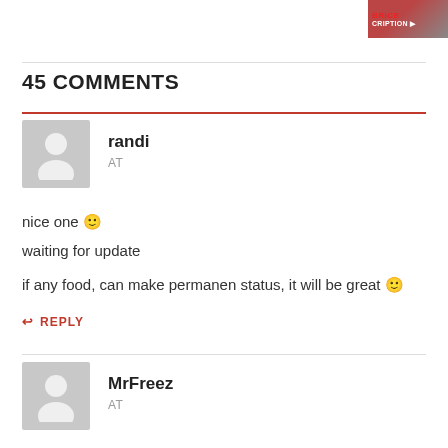[Figure (photo): Small thumbnail image in top right corner with red text overlay reading 'CRIPTION']
45 COMMENTS
[Figure (illustration): Generic user avatar placeholder (grey background with white silhouette) for user 'randi']
randi
AT
nice one 🙂
waiting for update

if any food, can make permanen status, it will be great 🙂
↩ REPLY
[Figure (illustration): Generic user avatar placeholder (grey background with white silhouette) for user 'MrFreez']
MrFreez
AT